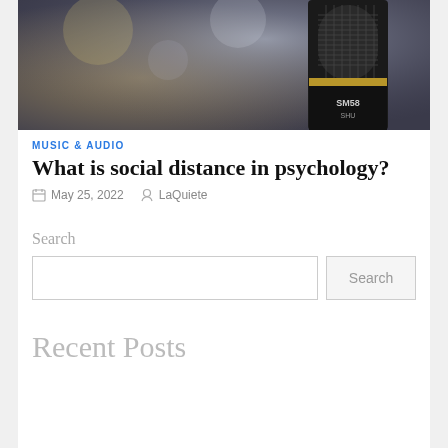[Figure (photo): Close-up photo of a Shure SM58 microphone against a blurred background]
MUSIC & AUDIO
What is social distance in psychology?
May 25, 2022   LaQuiete
Search
Recent Posts